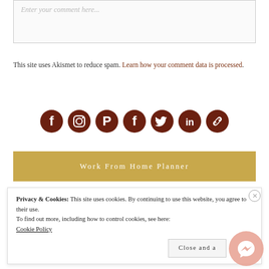Enter your comment here...
This site uses Akismet to reduce spam. Learn how your comment data is processed.
[Figure (other): Row of social media icons: Facebook, Instagram, Pinterest, Facebook, Twitter, LinkedIn, Link]
Work From Home Planner
Privacy & Cookies: This site uses cookies. By continuing to use this website, you agree to their use.
To find out more, including how to control cookies, see here:
Cookie Policy
Close and a